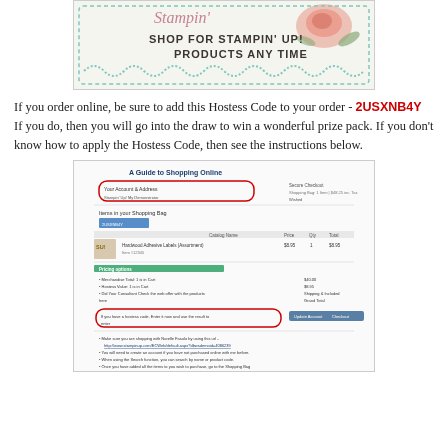[Figure (illustration): Stampin' Up! banner with floral decoration and decorative wave border reading 'SHOP FOR STAMPIN' UP! PRODUCTS ANY TIME']
If you order online, be sure to add this Hostess Code to your order - 2USXNB4Y If you do, then you will go into the draw to win a wonderful prize pack. If you don't know how to apply the Hostess Code, then see the instructions below.
[Figure (screenshot): A Guide to Shopping Online - screenshot showing Stampin' Up! online shopping interface with hostess code entry field highlighted in red circle, shopping bag items, pricing options, and bullet point instructions including a URL to stampinup.com]